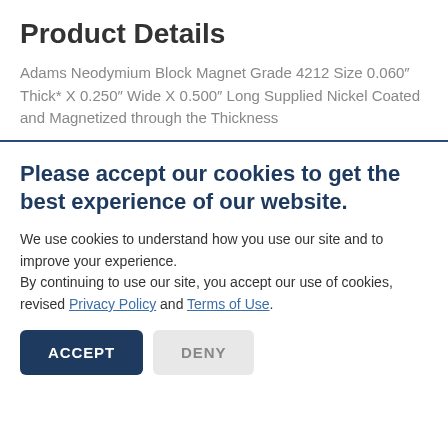Product Details
Adams Neodymium Block Magnet Grade 4212 Size 0.060″ Thick* X 0.250″ Wide X 0.500″ Long Supplied Nickel Coated and Magnetized through the Thickness
Please accept our cookies to get the best experience of our website.
We use cookies to understand how you use our site and to improve your experience.
By continuing to use our site, you accept our use of cookies, revised Privacy Policy and Terms of Use.